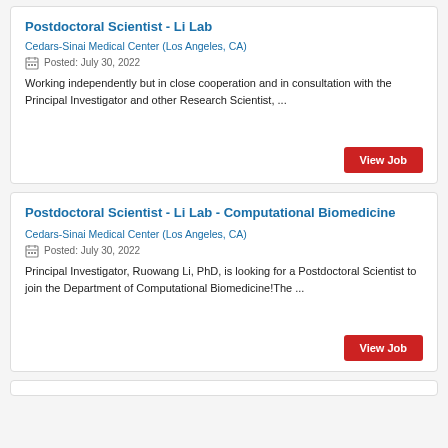Postdoctoral Scientist - Li Lab
Cedars-Sinai Medical Center (Los Angeles, CA)
Posted: July 30, 2022
Working independently but in close cooperation and in consultation with the Principal Investigator and other Research Scientist, ...
Postdoctoral Scientist - Li Lab - Computational Biomedicine
Cedars-Sinai Medical Center (Los Angeles, CA)
Posted: July 30, 2022
Principal Investigator, Ruowang Li, PhD, is looking for a Postdoctoral Scientist to join the Department of Computational Biomedicine!The ...